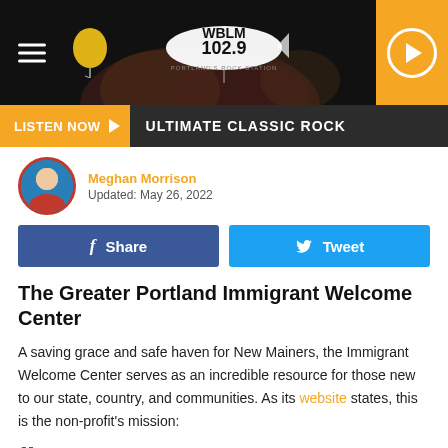WBLM 102.9 — Navigation header with Listen Now bar and ULTIMATE CLASSIC ROCK
Meghan Morrison
Updated: May 26, 2022
Share   Tweet
The Greater Portland Immigrant Welcome Center
A saving grace and safe haven for New Mainers, the Immigrant Welcome Center serves as an incredible resource for those new to our state, country, and communities. As its website states, this is the non-profit's mission:
“The Greater Portland Immigrant Welcome Center